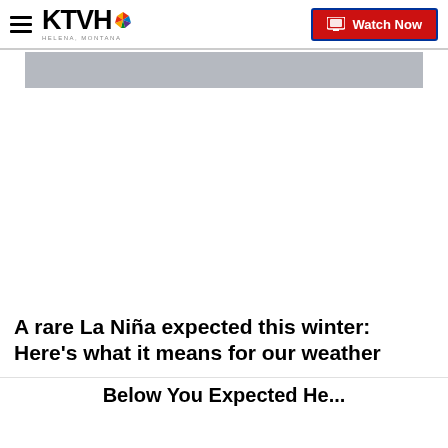KTVH — Watch Now
[Figure (screenshot): Gray banner/advertisement bar below the navigation header]
A rare La Niña expected this winter: Here's what it means for our weather
Below You Expected He...